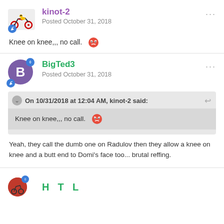kinot-2
Posted October 31, 2018
Knee on knee,,, no call. [angry emoji]
BigTed3
Posted October 31, 2018
On 10/31/2018 at 12:04 AM, kinot-2 said:
Knee on knee,,, no call. [angry emoji]
Yeah, they call the dumb one on Radulov then they allow a knee on knee and a butt end to Domi's face too... brutal reffing.
HTL